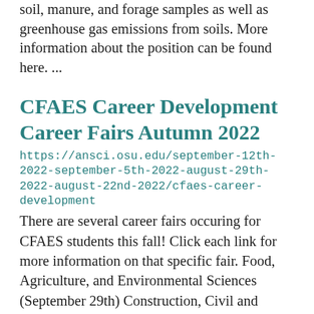soil, manure, and forage samples as well as greenhouse gas emissions from soils. More information about the position can be found here. ...
CFAES Career Development Career Fairs Autumn 2022
https://ansci.osu.edu/september-12th-2022-september-5th-2022-august-29th-2022-august-22nd-2022/cfaes-career-development
There are several career fairs occuring for CFAES students this fall! Click each link for more information on that specific fair. Food, Agriculture, and Environmental Sciences  (September 29th) Construction, Civil and Environmental  (September 22nd)